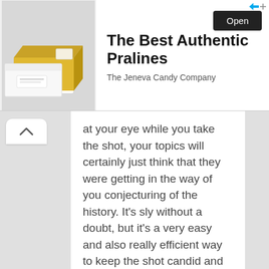[Figure (screenshot): Advertisement banner showing gold praline boxes on white background for The Jeneva Candy Company with 'Open' button]
at your eye while you take the shot, your topics will certainly just think that they were getting in the way of you conjecturing of the history. It's sly without a doubt, but it's a very easy and also really efficient way to keep the shot candid and to keep every person from asking if you took their photo.
How Learning NYC Photos Could Save Your